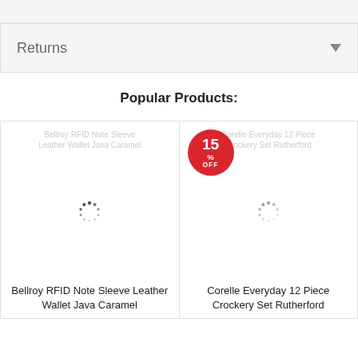Returns
Popular Products:
[Figure (screenshot): Product card for Bellroy RFID Note Sleeve Leather Wallet Java Caramel with loading spinner]
Bellroy RFID Note Sleeve Leather Wallet Java Caramel
[Figure (screenshot): Product card for Corelle Everyday 12 Piece Crockery Set Rutherford with 15% OFF badge and loading spinner]
Corelle Everyday 12 Piece Crockery Set Rutherford